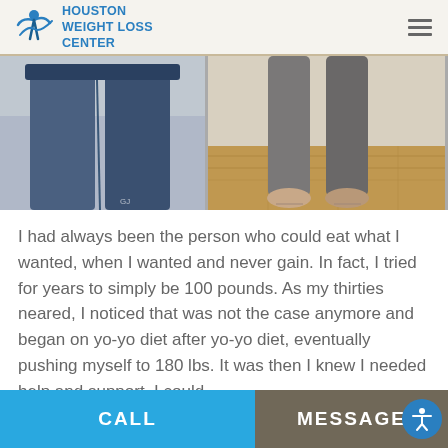HOUSTON WEIGHT LOSS CENTER
[Figure (photo): Before and after weight loss photos showing lower body/legs comparison]
I had always been the person who could eat what I wanted, when I wanted and never gain. In fact, I tried for years to simply be 100 pounds. As my thirties neared, I noticed that was not the case anymore and began on yo-yo diet after yo-yo diet, eventually pushing myself to 180 lbs. It was then I knew I needed help and support. I could
CALL    MESSAGE